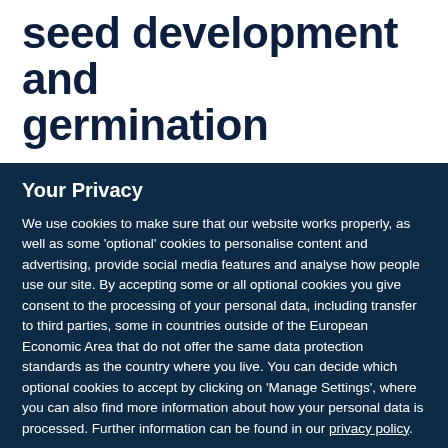seed development and germination
Your Privacy
We use cookies to make sure that our website works properly, as well as some 'optional' cookies to personalise content and advertising, provide social media features and analyse how people use our site. By accepting some or all optional cookies you give consent to the processing of your personal data, including transfer to third parties, some in countries outside of the European Economic Area that do not offer the same data protection standards as the country where you live. You can decide which optional cookies to accept by clicking on 'Manage Settings', where you can also find more information about how your personal data is processed. Further information can be found in our privacy policy.
Accept all cookies
Manage preferences